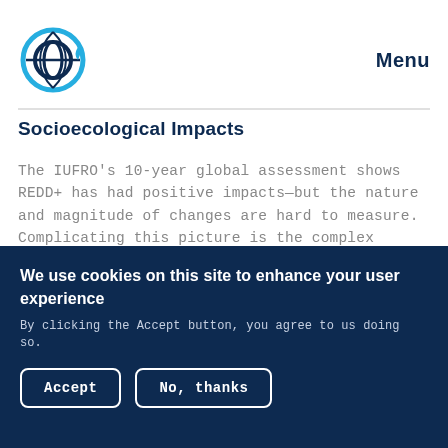Menu
Socioecological Impacts
The IUFRO's 10-year global assessment shows REDD+ has had positive impacts—but the nature and magnitude of changes are hard to measure. Complicating this picture is the complex governance of forests, and the need to address poverty and inequality.
EVENT    4 May 2022
We use cookies on this site to enhance your user experience
By clicking the Accept button, you agree to us doing so.
Accept
No, thanks